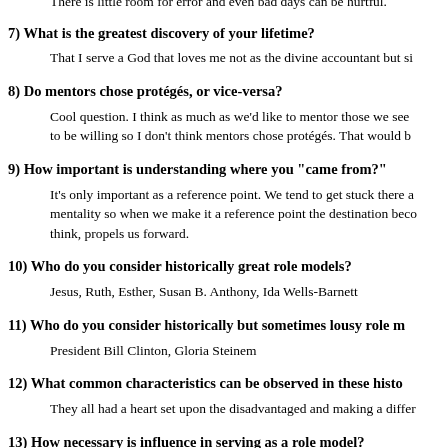There is little room for error and even bad days can be hurtful.
7) What is the greatest discovery of your lifetime?
That I serve a God that loves me not as the divine accountant but si...
8) Do mentors chose protégés, or vice-versa?
Cool question. I think as much as we'd like to mentor those we see... to be willing so I don't think mentors chose protégés. That would b...
9) How important is understanding where you "came from?"
It's only important as a reference point. We tend to get stuck there a... mentality so when we make it a reference point the destination beco... think, propels us forward.
10) Who do you consider historically great role models?
Jesus, Ruth, Esther, Susan B. Anthony, Ida Wells-Barnett
11) Who do you consider historically but sometimes lousy role m...
President Bill Clinton, Gloria Steinem
12) What common characteristics can be observed in these histo...
They all had a heart set upon the disadvantaged and making a diffe...
13) How necessary is influence in serving as a role model?